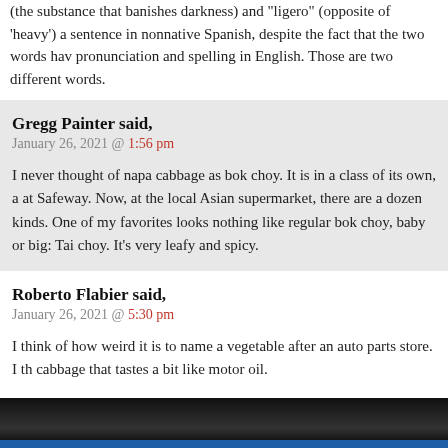(the substance that banishes darkness) and "ligero" (opposite of 'heavy') a sentence in nonnative Spanish, despite the fact that the two words have pronunciation and spelling in English. Those are two different words.
Gregg Painter said,
January 26, 2021 @ 1:56 pm
I never thought of napa cabbage as bok choy. It is in a class of its own, a at Safeway. Now, at the local Asian supermarket, there are a dozen kinds. One of my favorites looks nothing like regular bok choy, baby or big: Tai choy. It's very leafy and spicy.
Roberto Flabier said,
January 26, 2021 @ 5:30 pm
I think of how weird it is to name a vegetable after an auto parts store. I th cabbage that tastes a bit like motor oil.
RSS feed for comments on this post